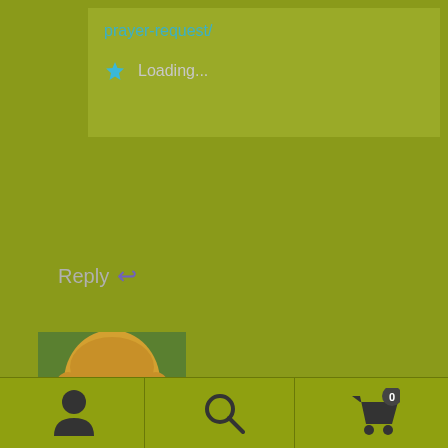prayer-request/
Loading...
Reply ↩
[Figure (photo): Profile photo of a blonde woman smiling outdoors on green background]
Josslyn Streett
February 8, 2017
[Figure (infographic): Bottom navigation bar with user icon, search icon, and shopping cart icon with badge showing 0]